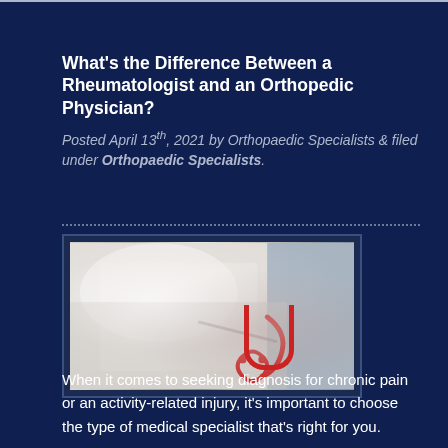What's the Difference Between a Rheumatologist and an Orthopedic Physician?
Posted April 13th, 2021 by Orthopaedic Specialists & filed under Orthopaedic Specialists.
[Figure (photo): A doctor in a white coat holding a red stethoscope with arms crossed]
When it comes to seeking diagnosis for chronic pain or an activity-related injury, it's important to choose the type of medical specialist that's right for you.